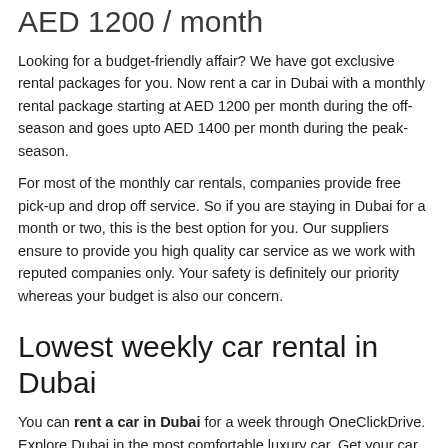AED 1200 / month
Looking for a budget-friendly affair? We have got exclusive rental packages for you. Now rent a car in Dubai with a monthly rental package starting at AED 1200 per month during the off-season and goes upto AED 1400 per month during the peak-season.
For most of the monthly car rentals, companies provide free pick-up and drop off service. So if you are staying in Dubai for a month or two, this is the best option for you. Our suppliers ensure to provide you high quality car service as we work with reputed companies only. Your safety is definitely our priority whereas your budget is also our concern.
Lowest weekly car rental in Dubai
You can rent a car in Dubai for a week through OneClickDrive. Explore Dubai in the most comfortable luxury car. Get your car booked within minutes by consulting with the car rental company directly via call. We have discounted weekly offers for our